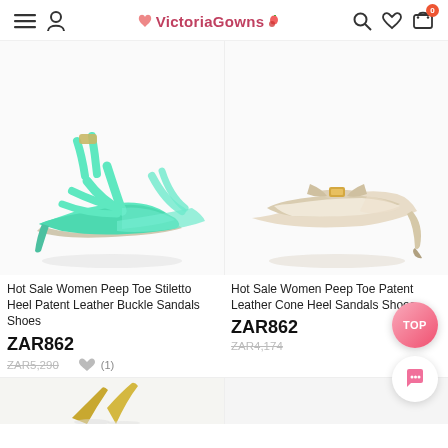VictoriaGowns
[Figure (photo): Mint green strappy stiletto heel patent leather sandals with buckle, shown as a pair on white background]
[Figure (photo): Beige/cream patent leather cone heel mule sandals with bow detail and gold buckle, shown on white background]
Hot Sale Women Peep Toe Stiletto Heel Patent Leather Buckle Sandals Shoes
Hot Sale Women Peep Toe Patent Leather Cone Heel Sandals Shoes
ZAR862
ZAR5,290
ZAR862
ZAR4,174